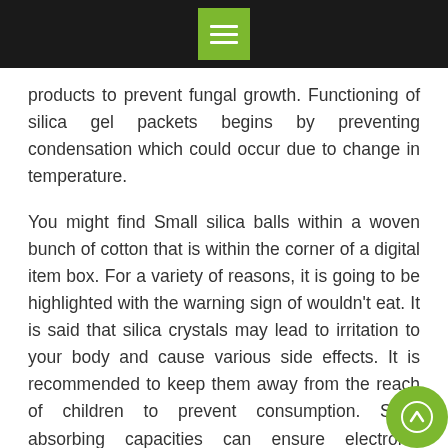[Menu icon / navigation bar]
products to prevent fungal growth. Functioning of silica gel packets begins by preventing condensation which could occur due to change in temperature.
You might find Small silica balls within a woven bunch of cotton that is within the corner of a digital item box. For a variety of reasons, it is going to be highlighted with the warning sign of wouldn’t eat. It is said that silica crystals may lead to irritation to your body and cause various side effects. It is recommended to keep them away from the reach of children to prevent consumption. Such absorbing capacities can ensure electronic products to be free from water and moisture. It is possible to reuse silica gel packets after the moisture has dried off; reheating them to 200 degrees makes them more pliable. There